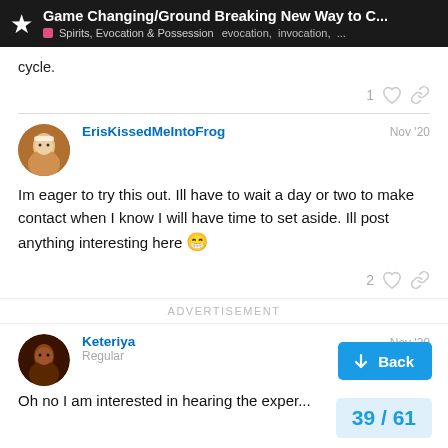Game Changing/Ground Breaking New Way to C... | Spirits, Evocation & Possession  evocation, invocation, ...
cycle.
ErisKissedMeIntoFrog  Nov '20
Im eager to try this out. Ill have to wait a day or two to make contact when I know I will have time to set aside. Ill post anything interesting here 😁
ADVERTISEMENT
Keteriya  Regular  Nov '20
Oh no I am interested in hearing the exper...